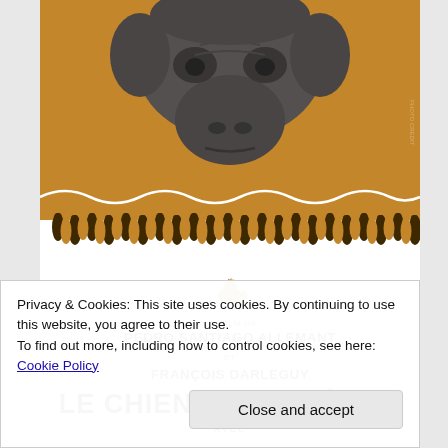[Figure (photo): Close-up photo of a hairless Peruvian dog (Perro sin pelo del Perú) against a golden/amber background, shown from above looking down]
[Figure (illustration): Decorative border with Andean/Incan style repeating teardrop/fringe pattern in dark brown and gold, with a white wavy line above it]
[Figure (logo): Small golden rooster/bird logo]
UN FILM DE
PEDRO SANTIAGO ALLEMANT ET FRANÇOIS DARLEGUY
LE CHIEN NU DU PÉROU
AVEC
Privacy & Cookies: This site uses cookies. By continuing to use this website, you agree to their use.
To find out more, including how to control cookies, see here: Cookie Policy
Close and accept